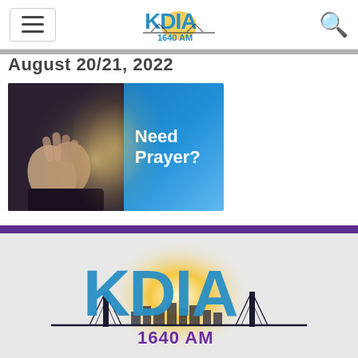KDIA 1640 AM — navigation header with hamburger menu and search icon
August 20/21, 2022
[Figure (photo): Banner image showing praying hands on the left side against a dark background, with 'Need Prayer?' text in white on a blue background on the right side.]
[Figure (logo): Large KDIA 1640 AM logo on a light gray background with golden sun/glow circle behind the letters, and a city bridge skyline silhouette. The letters KDIA are large in blue, and '1640 AM' appears below in purple.]